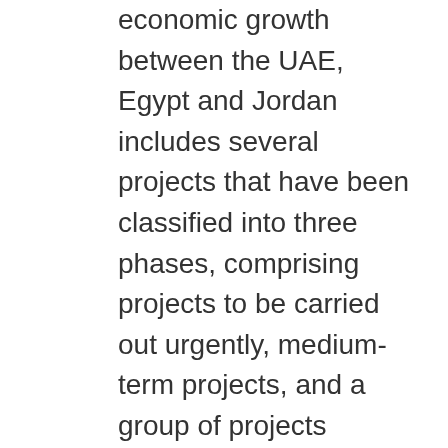economic growth between the UAE, Egypt and Jordan includes several projects that have been classified into three phases, comprising projects to be carried out urgently, medium-term projects, and a group of projects related the long-term period.
In her interview with the Emirates News Agency (WAM), Gamea said, "The partnership was the fruit of the fraternal meeting between President His Highness Sheikh Mohamed bin Zayed Al Nahyan, President of Egypt, Abdel Fattah el-Sisi, and King Abdullah II of Jordan in Cairo. Work was carried out according to